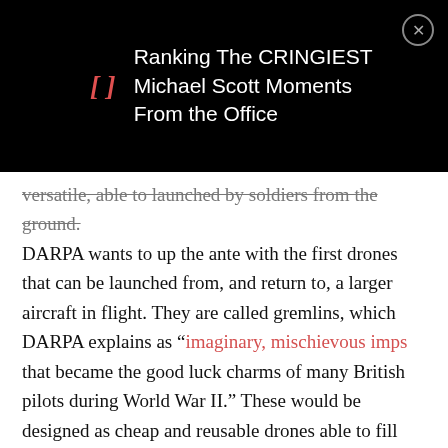Ranking The CRINGIEST Michael Scott Moments From the Office
versatile, able to launched by soldiers from the ground. DARPA wants to up the ante with the first drones that can be launched from, and return to, a larger aircraft in flight. They are called gremlins, which DARPA explains as “imaginary, mischievous imps that became the good luck charms of many British pilots during World War II.” These would be designed as cheap and reusable drones able to fill intelligence, surveillance, and reconnaissance roles. They would also be used against targets. Gremlins could theoretically swarm an enemy aircraft, jamming communications and radar, discombobulating the pilot, and being too small and numerous to be targeted by missiles or guns.
The Gremlins could theoretically...